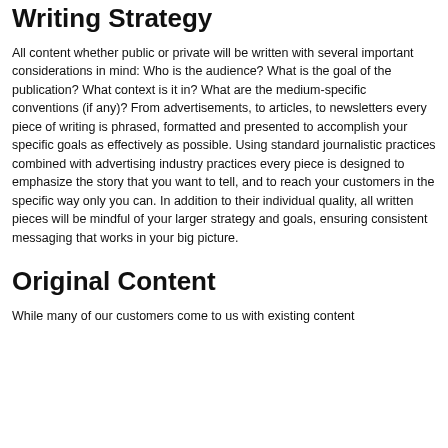Writing Strategy
All content whether public or private will be written with several important considerations in mind: Who is the audience? What is the goal of the publication? What context is it in? What are the medium-specific conventions (if any)? From advertisements, to articles, to newsletters every piece of writing is phrased, formatted and presented to accomplish your specific goals as effectively as possible. Using standard journalistic practices combined with advertising industry practices every piece is designed to emphasize the story that you want to tell, and to reach your customers in the specific way only you can. In addition to their individual quality, all written pieces will be mindful of your larger strategy and goals, ensuring consistent messaging that works in your big picture.
Original Content
While many of our customers come to us with existing content for editing, Copy Co. Creative, the following has been developed...